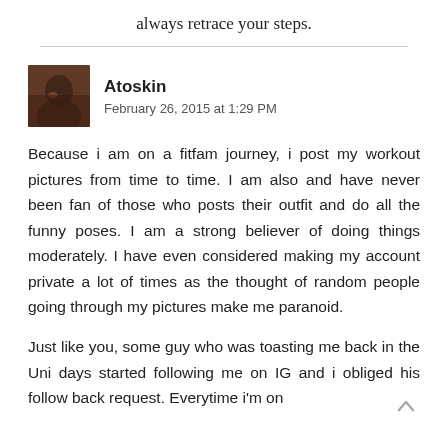always retrace your steps.
[Figure (photo): Avatar photo of commenter Atoskin, a dark-toned portrait photo]
Atoskin
February 26, 2015 at 1:29 PM
Because i am on a fitfam journey, i post my workout pictures from time to time. I am also and have never been fan of those who posts their outfit and do all the funny poses. I am a strong believer of doing things moderately. I have even considered making my account private a lot of times as the thought of random people going through my pictures make me paranoid.
Just like you, some guy who was toasting me back in the Uni days started following me on IG and i obliged his follow back request. Everytime i'm on